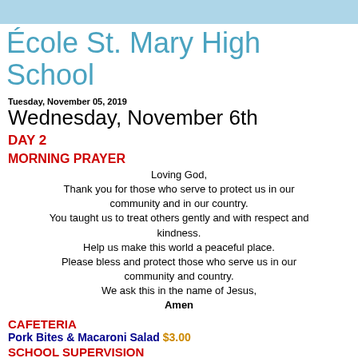École St. Mary High School
Tuesday, November 05, 2019
Wednesday, November 6th
DAY 2
MORNING PRAYER
Loving God,
Thank you for those who serve to protect us in our community and in our country.
You taught us to treat others gently and with respect and kindness.
Help us make this world a peaceful place.
Please bless and protect those who serve us in our community and country.
We ask this in the name of Jesus,
Amen
CAFETERIA
Pork Bites & Macaroni Salad $3.00
SCHOOL SUPERVISION